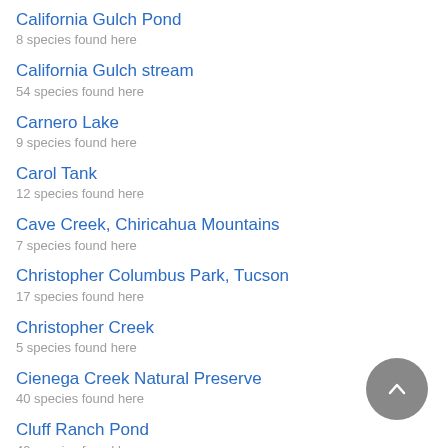California Gulch Pond
8 species found here
California Gulch stream
54 species found here
Carnero Lake
9 species found here
Carol Tank
12 species found here
Cave Creek, Chiricahua Mountains
7 species found here
Christopher Columbus Park, Tucson
17 species found here
Christopher Creek
5 species found here
Cienega Creek Natural Preserve
40 species found here
Cluff Ranch Pond
49 species found here